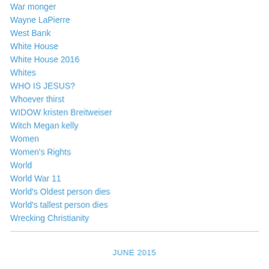War monger
Wayne LaPierre
West Bank
White House
White House 2016
Whites
WHO IS JESUS?
Whoever thirst
WIDOW kristen Breitweiser
Witch Megan kelly
Women
Women's Rights
World
World War 11
World's Oldest person dies
World's tallest person dies
Wrecking Christianity
JUNE 2015